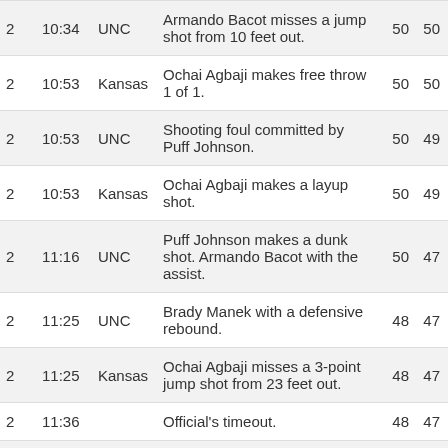|  |  |  |  |  |  |
| --- | --- | --- | --- | --- | --- |
| 2 | 10:34 | UNC | Armando Bacot misses a jump shot from 10 feet out. | 50 | 50 |
| 2 | 10:53 | Kansas | Ochai Agbaji makes free throw 1 of 1. | 50 | 50 |
| 2 | 10:53 | UNC | Shooting foul committed by Puff Johnson. | 50 | 49 |
| 2 | 10:53 | Kansas | Ochai Agbaji makes a layup shot. | 50 | 49 |
| 2 | 11:16 | UNC | Puff Johnson makes a dunk shot. Armando Bacot with the assist. | 50 | 47 |
| 2 | 11:25 | UNC | Brady Manek with a defensive rebound. | 48 | 47 |
| 2 | 11:25 | Kansas | Ochai Agbaji misses a 3-point jump shot from 23 feet out. | 48 | 47 |
| 2 | 11:36 |  | Official's timeout. | 48 | 47 |
| 2 | 11:36 |  | Kansas with a defensive rebound. | 48 | 47 |